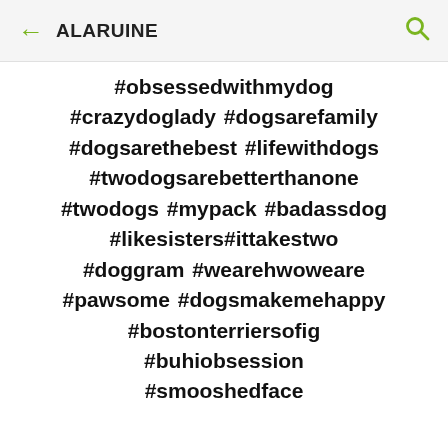ALARUINE
#obsessedwithmydog #crazydoglady #dogsarefamily #dogsarethebest #lifewithdogs #twodogsarebetterthanone #twodogs #mypack #badassdog #likesisters#ittakestwo #doggram #wearehwoweare #pawsome #dogsmakemehappy #bostonterriersofig #buhiobsession #smooshedface